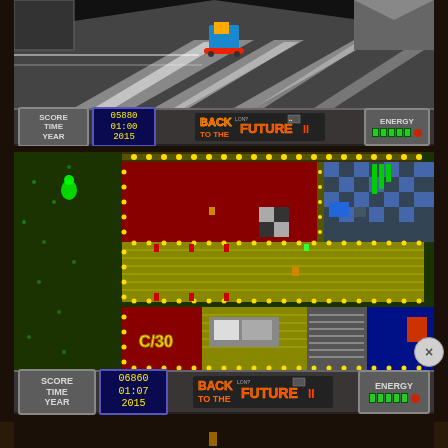[Figure (screenshot): Back to the Future II video game screenshot 1 - isometric view showing character on hoverboard on futuristic street. HUD shows SCORE/TIME/YEAR labels, digits 05880/01:00/2015, Back to the Future II logo, and ENERGY bar.]
[Figure (screenshot): Back to the Future II video game screenshot 2 - top-down view of a building interior/exterior with colorful rooms (red, yellow corridors with dot borders, blue room). HUD shows SCORE/TIME/YEAR labels, digits 06860/01:07/2015, Back to the Future II logo, and ENERGY bar. Close button (X) visible on right side.]
[Figure (screenshot): Back to the Future II video game screenshot 3 - partial view, dark brown/black background with small figure visible at bottom.]